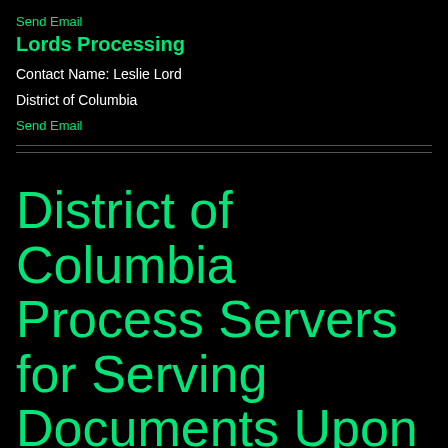Send Email
Lords Processing
Contact Name: Leslie Lord
District of Columbia
Send Email
District of Columbia Process Servers for Serving Documents Upon Andrew Lipman, in the District of Columbia.